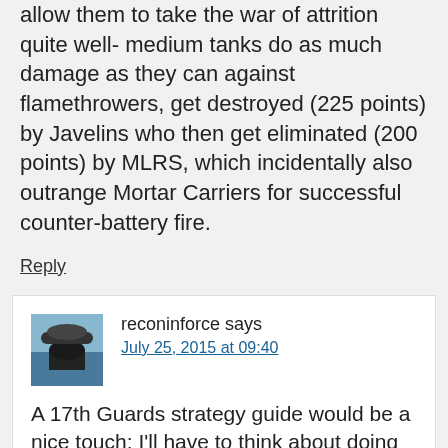allow them to take the war of attrition quite well- medium tanks do as much damage as they can against flamethrowers, get destroyed (225 points) by Javelins who then get eliminated (200 points) by MLRS, which incidentally also outrange Mortar Carriers for successful counter-battery fire.
Reply
reconinforce says
July 25, 2015 at 09:40
A 17th Guards strategy guide would be a nice touch; I'll have to think about doing that. Although their